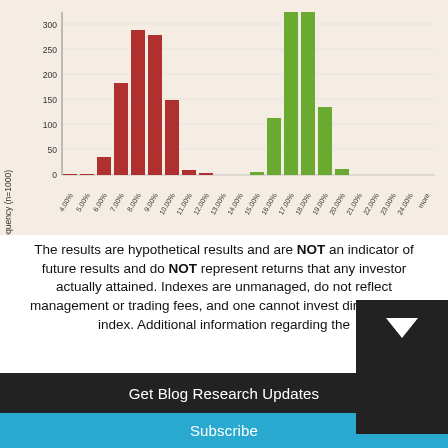[Figure (histogram): Frequency (n=1000)]
The results are hypothetical results and are NOT an indicator of future results and do NOT represent returns that any investor actually attained. Indexes are unmanaged, do not reflect management or trading fees, and one cannot invest directly in an index. Additional information regarding the
Get Blog Research Updates
Your email address..
Subscribe